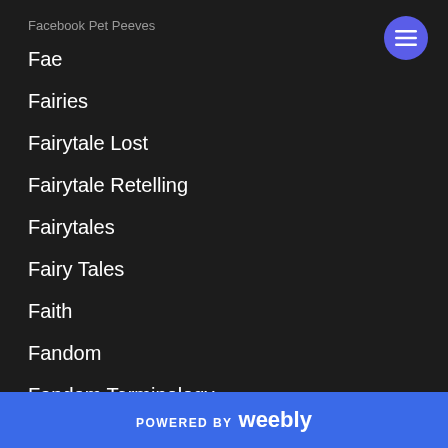Facebook Pet Peeves
Fae
Fairies
Fairytale Lost
Fairytale Retelling
Fairytales
Fairy Tales
Faith
Fandom
Fandom Terminology
Fangirl
POWERED BY weebly